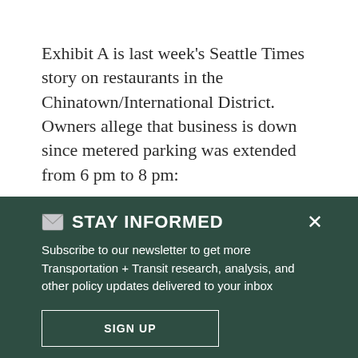Exhibit A is last week's Seattle Times story on restaurants in the Chinatown/International District. Owners allege that business is down since metered parking was extended from 6 pm to 8 pm:
Restaurant owners and community
STAY INFORMED
Subscribe to our newsletter to get more Transportation + Transit research, analysis, and other policy updates delivered to your inbox
SIGN UP